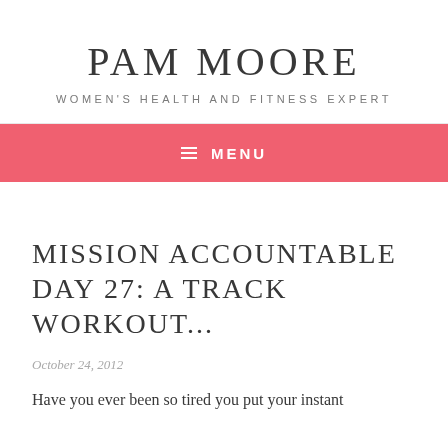PAM MOORE
WOMEN'S HEALTH AND FITNESS EXPERT
MENU
MISSION ACCOUNTABLE DAY 27: A TRACK WORKOUT...
October 24, 2012
Have you ever been so tired you put your instant